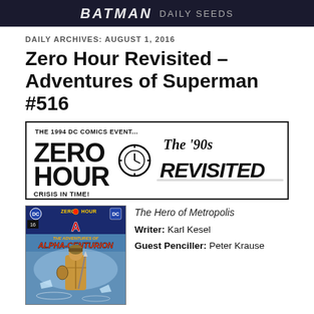BATMAN DAILY SEEDS
DAILY ARCHIVES: AUGUST 1, 2016
Zero Hour Revisited – Adventures of Superman #516
[Figure (illustration): Zero Hour Crisis in Time banner — The 1994 DC Comics Event... ZERO HOUR Crisis in Time! logo on the left, The '90s REVISITED stylized text on the right]
[Figure (illustration): Comic book cover of Adventures of Superman #516 Zero Hour edition featuring Alpha-Centurion]
The Hero of Metropolis
Writer: Karl Kesel
Guest Penciller: Peter Krause